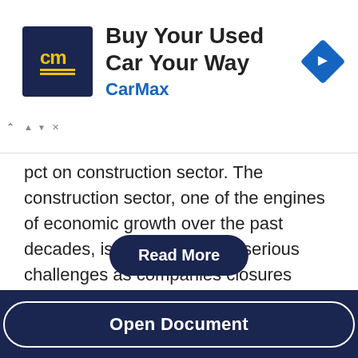[Figure (advertisement): CarMax ad banner with logo, title 'Buy Your Used Car Your Way', brand name 'CarMax', and a blue diamond navigation arrow icon]
pct on construction sector. The construction sector, one of the engines of economic growth over the past decades, is now facing with serious challenges as companies closures ,increase in unemployement and postponded and even investment cancel. These have changed the clients and construction industry behaviour. Due to increase in competition among different companies
[Figure (other): Read More button overlay in dark navy blue with white text]
[Figure (other): Open Document button in dark navy blue footer bar]